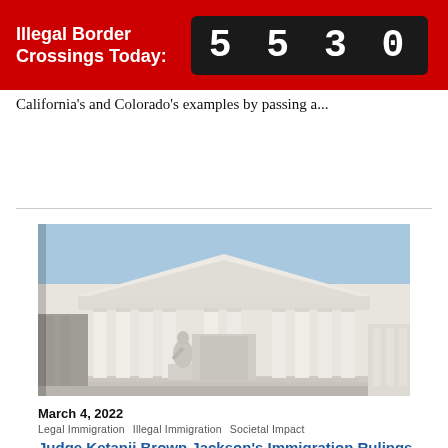Illegal Border Crossings Today: 5530
California's and Colorado's examples by passing a...
[Figure (photo): Photograph of the United States Supreme Court building, showing white marble columns, steps, and a seated statue in front under a clear blue sky.]
March 4, 2022
Legal Immigration   Illegal Immigration   Societal Impact
Judge Ketanji Brown Jackson's Immigration Rulings...